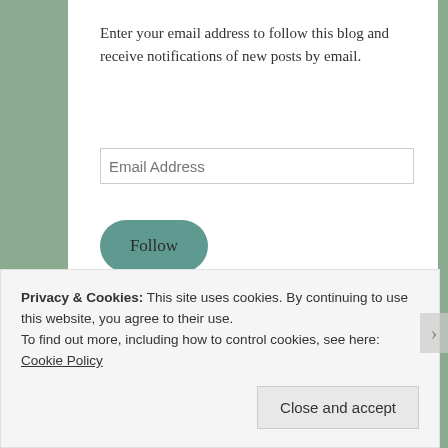Enter your email address to follow this blog and receive notifications of new posts by email.
Email Address
Follow
Join 2,872 other followers
Like me on Facebook!
Privacy & Cookies: This site uses cookies. By continuing to use this website, you agree to their use.
To find out more, including how to control cookies, see here: Cookie Policy
Close and accept